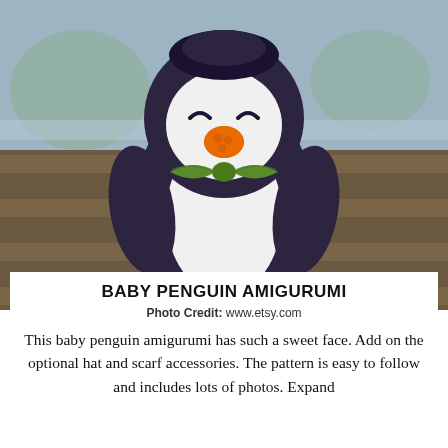[Figure (photo): A crocheted baby penguin amigurumi toy sitting on wooden deck boards. The penguin has a dark navy/charcoal body, white belly and face, orange beak, orange feet, closed sleepy eyes stitched in dark thread, and a green bow tie. Background shows blurred outdoor scenery.]
BABY PENGUIN AMIGURUMI
Photo Credit: www.etsy.com
This baby penguin amigurumi has such a sweet face. Add on the optional hat and scarf accessories. The pattern is easy to follow and includes lots of photos. Expand